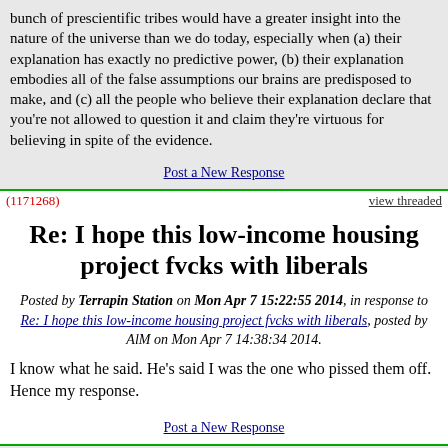bunch of prescientific tribes would have a greater insight into the nature of the universe than we do today, especially when (a) their explanation has exactly no predictive power, (b) their explanation embodies all of the false assumptions our brains are predisposed to make, and (c) all the people who believe their explanation declare that you're not allowed to question it and claim they're virtuous for believing in spite of the evidence.
Post a New Response
(1171268)
view threaded
Re: I hope this low-income housing project fvcks with liberals
Posted by Terrapin Station on Mon Apr 7 15:22:55 2014, in response to Re: I hope this low-income housing project fvcks with liberals, posted by AlM on Mon Apr 7 14:38:34 2014.
I know what he said. He's said I was the one who pissed them off. Hence my response.
Post a New Response
(1171271)
view threaded
Re: I hope this low-income housing